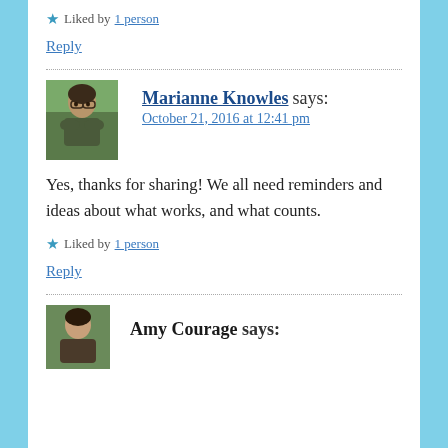★ Liked by 1 person
Reply
Marianne Knowles says:
October 21, 2016 at 12:41 pm
Yes, thanks for sharing! We all need reminders and ideas about what works, and what counts.
★ Liked by 1 person
Reply
Amy Courage says: